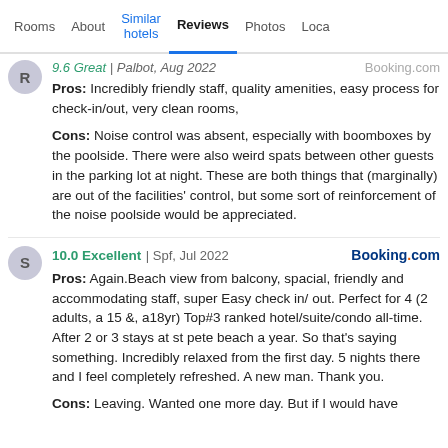Rooms | About | Similar hotels | Reviews | Photos | Loca
Pros: Incredibly friendly staff, quality amenities, easy process for check-in/out, very clean rooms,
Cons: Noise control was absent, especially with boomboxes by the poolside. There were also weird spats between other guests in the parking lot at night. These are both things that (marginally) are out of the facilities' control, but some sort of reinforcement of the noise poolside would be appreciated.
10.0 Excellent | Spf, Jul 2022 Booking.com
Pros: Again.Beach view from balcony, spacial, friendly and accommodating staff, super Easy check in/ out. Perfect for 4 (2 adults, a 15 &, a18yr) Top#3 ranked hotel/suite/condo all-time. After 2 or 3 stays at st pete beach a year. So that's saying something. Incredibly relaxed from the first day. 5 nights there and I feel completely refreshed. A new man. Thank you.
Cons: Leaving. Wanted one more day. But if I would have